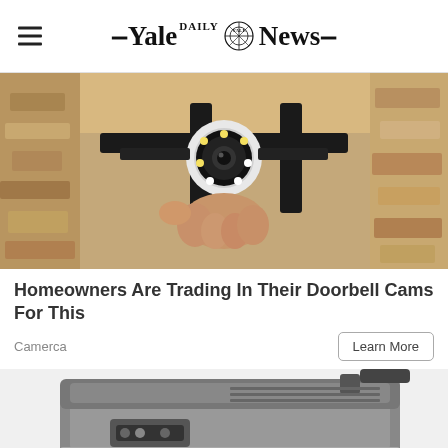Yale Daily News
[Figure (photo): A person holding a white security camera mounted on a black bracket against a stone/stucco wall]
Homeowners Are Trading In Their Doorbell Cams For This
Camerca
[Figure (photo): A George Foreman-style electric contact grill, silver and black, viewed from the side/top angle]